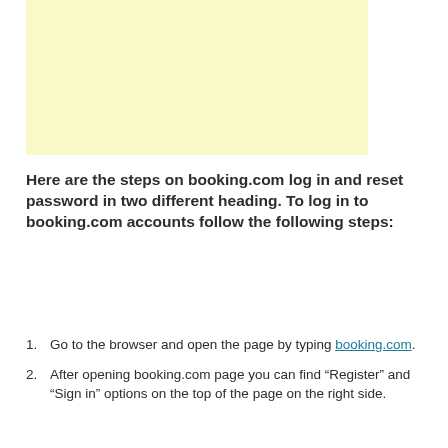[Figure (other): Light yellow advertisement or image placeholder box]
Here are the steps on booking.com log in and reset password in two different heading. To log in to booking.com accounts follow the following steps:
Go to the browser and open the page by typing booking.com.
After opening booking.com page you can find “Register” and “Sign in” options on the top of the page on the right side.